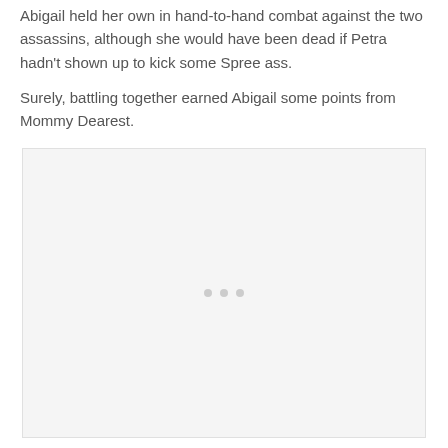Abigail held her own in hand-to-hand combat against the two assassins, although she would have been dead if Petra hadn't shown up to kick some Spree ass.
Surely, battling together earned Abigail some points from Mommy Dearest.
[Figure (other): Large light gray placeholder image box with three small gray dots centered near the bottom third of the box]